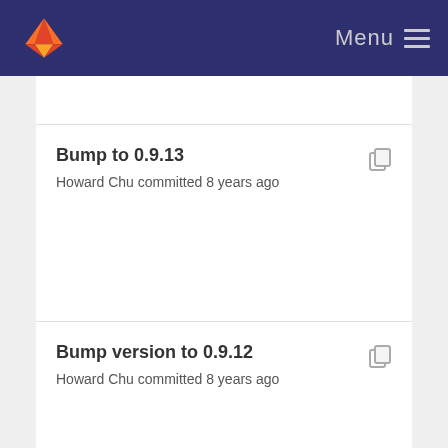Menu
Bump to 0.9.13
Howard Chu committed 8 years ago
Bump version to 0.9.12
Howard Chu committed 8 years ago